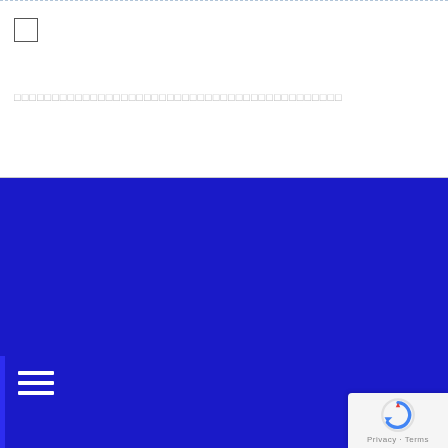[Figure (screenshot): Checkbox input element at top left of form]
□□□□□□□□□□□□□□□□□□□□□□□□□□□□□□□□□□□□□□□□□□□
[Figure (screenshot): Blue submit/send button with Japanese placeholder text]
[Figure (screenshot): Blue footer section with hamburger menu icon on left]
名古屋電気工事
あらゆる建物の電気工事なら
© 2016 □□□□□□□□□□□□□□□□□□□□□□□□
[Figure (logo): reCAPTCHA badge with circular arrow logo, Privacy and Terms links]